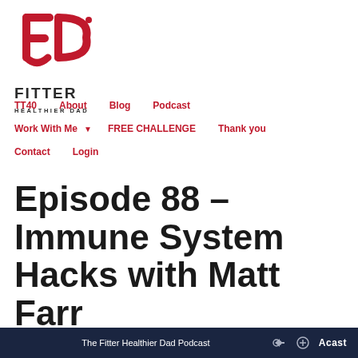[Figure (logo): Fitter Healthier Dad logo — red stylized FHD monogram with FITTER HEALTHIER DAD text below]
TT40   About   Blog   Podcast   Work With Me ▼   FREE CHALLENGE   Thank you   Contact   Login
Episode 88 – Immune System Hacks with Matt Farr
The Fitter Healthier Dad Podcast   Acast